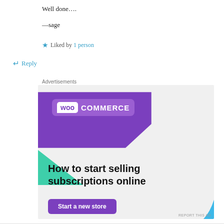Well done….
—sage
★ Liked by 1 person
↵ Reply
Advertisements
[Figure (infographic): WooCommerce advertisement banner with purple background, WooCommerce logo, green and blue decorative shapes, headline 'How to start selling subscriptions online', and a 'Start a new store' button. Report This Ad text in bottom right.]